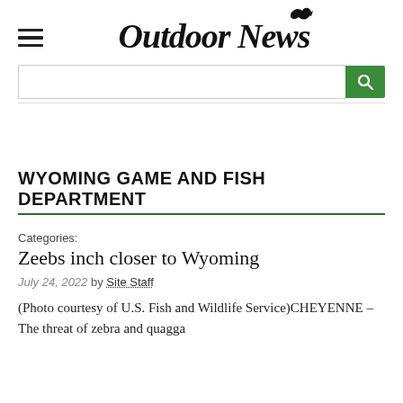Outdoor News
WYOMING GAME AND FISH DEPARTMENT
Categories:
Zeebs inch closer to Wyoming
July 24, 2022 by Site Staff
(Photo courtesy of U.S. Fish and Wildlife Service)CHEYENNE – The threat of zebra and quagga